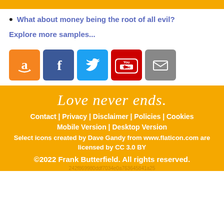What about money being the root of all evil?
Explore more samples...
[Figure (infographic): Social media icons row: Amazon, Facebook, Twitter, YouTube, Email]
Love never ends.
Contact | Privacy | Disclaimer | Policies | Cookies
Mobile Version | Desktop Version
Select icons created by Dave Gandy from www.flaticon.com are licensed by CC 3.0 BY
©2022 Frank Butterfield. All rights reserved.
242f869980ddf7034e0a763645841a25